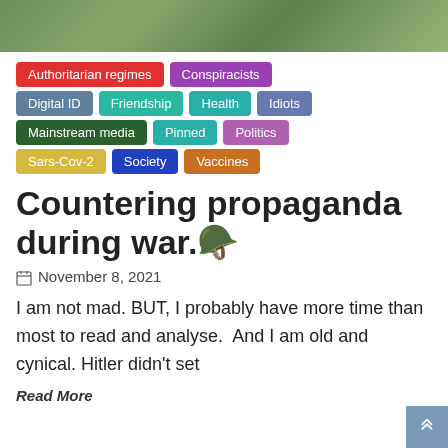[Figure (photo): Partial photo strip showing outdoor greenery/foliage at top of page]
Authoritarian regimes
Conspiracists
Digital ID
Friendship
Health
Idiots
Mainstream media
Pinned
Politics
Sars-Cov-2
Society
Vaccines
Countering propaganda during war.🪖
November 8, 2021
I am not mad. BUT, I probably have more time than most to read and analyse.  And I am old and cynical. Hitler didn't set
Read More